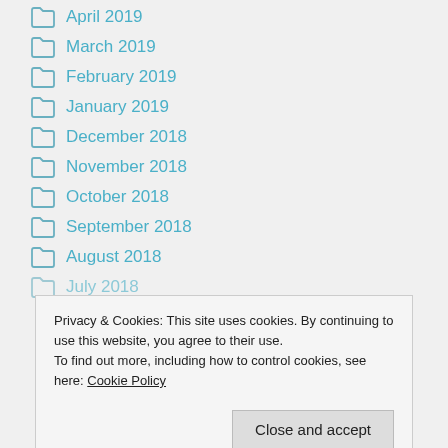April 2019
March 2019
February 2019
January 2019
December 2018
November 2018
October 2018
September 2018
August 2018
July 2018
Privacy & Cookies: This site uses cookies. By continuing to use this website, you agree to their use.
To find out more, including how to control cookies, see here: Cookie Policy
Close and accept
January 2018